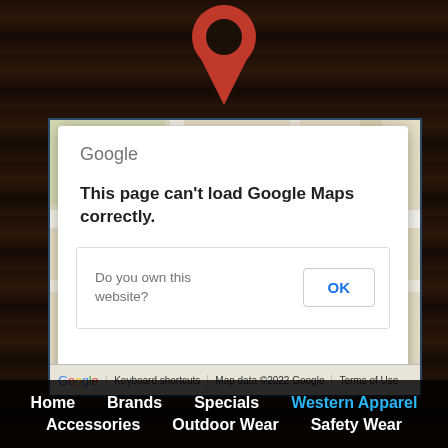[Figure (screenshot): Google Maps error dialog on a website with a dark wooden background. The map area shows a Google Maps interface with an error dialog reading 'This page can't load Google Maps correctly.' with a prompt 'Do you own this website?' and an OK button. The bottom bar shows Google branding, Keyboard shortcuts, Map data ©2022 Google, and Terms of Use.]
Home   Brands   Specials   Western Apparel
Accessories   Outdoor Wear   Safety Wear